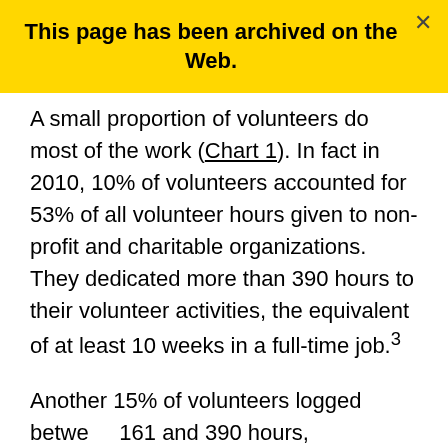This page has been archived on the Web.
A small proportion of volunteers do most of the work (Chart 1). In fact in 2010, 10% of volunteers accounted for 53% of all volunteer hours given to non-profit and charitable organizations. They dedicated more than 390 hours to their volunteer activities, the equivalent of at least 10 weeks in a full-time job.3
Another 15% of volunteers logged between 161 and 390 hours, corresponding to between 4 and almost 10 full-time weeks of unpaid